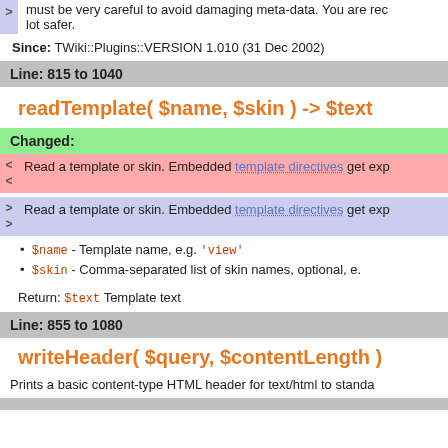> must be very careful to avoid damaging meta-data. You are rec lot safer.
Since: TWiki::Plugins::VERSION 1.010 (31 Dec 2002)
Line: 815 to 1040
readTemplate( $name, $skin ) -> $text
Changed:
< < Read a template or skin. Embedded template directives get exp
> > Read a template or skin. Embedded template directives get exp
$name - Template name, e.g. 'view'
$skin - Comma-separated list of skin names, optional, e.
Return: $text Template text
Line: 855 to 1080
writeHeader( $query, $contentLength )
Prints a basic content-type HTML header for text/html to standa